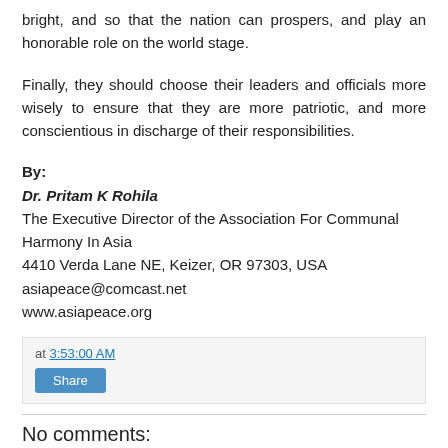bright, and so that the nation can prospers, and play an honorable role on the world stage.
Finally, they should choose their leaders and officials more wisely to ensure that they are more patriotic, and more conscientious in discharge of their responsibilities.
By:
Dr. Pritam K Rohila
The Executive Director of the Association For Communal Harmony In Asia
4410 Verda Lane NE, Keizer, OR 97303, USA
asiapeace@comcast.net
www.asiapeace.org
at 3:53:00 AM
Share
No comments: